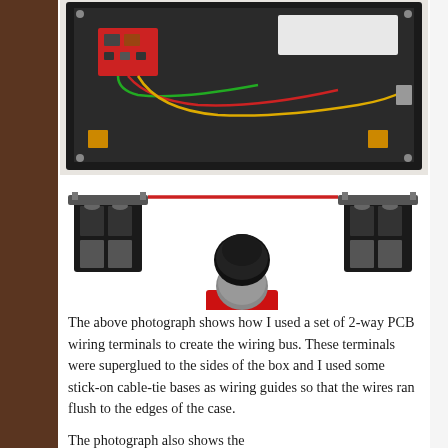[Figure (photo): Two photographs: top image shows the interior of an open electronics box with colored wires (green, red, yellow), a red PCB/circuit board, and internal components on a black base. Bottom image shows two 2-way PCB wiring terminals connected by a red wire, and a joystick module on a red PCB board with colored wires (red, black, green) hanging below.]
The above photograph shows how I used a set of 2-way PCB wiring terminals to create the wiring bus. These terminals were superglued to the sides of the box and I used some stick-on cable-tie bases as wiring guides so that the wires ran flush to the edges of the case.
The photograph also shows the